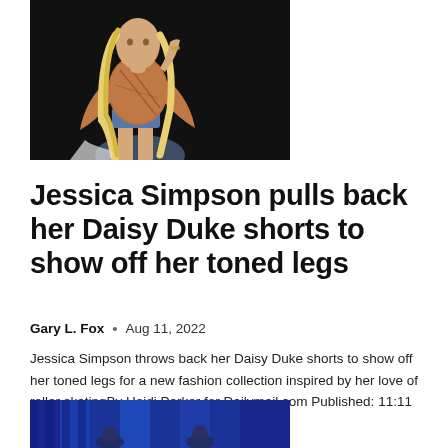[Figure (photo): Photo of a blonde woman wearing a patterned orange/rust top and denim cutoff shorts, posing against a dark background]
Jessica Simpson pulls back her Daisy Duke shorts to show off her toned legs
Gary L. Fox  •  Aug 11, 2022
Jessica Simpson throws back her Daisy Duke shorts to show off her toned legs for a new fashion collection inspired by her love of roller skatingBy Heidi Parker for Dailymail.com Published: 11:11 a.m. EDT, August 11, 2022...
[Figure (photo): Photo of people on what appears to be a blue-lit stage or TV set]